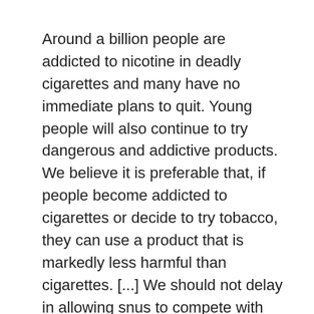Around a billion people are addicted to nicotine in deadly cigarettes and many have no immediate plans to quit. Young people will also continue to try dangerous and addictive products. We believe it is preferable that, if people become addicted to cigarettes or decide to try tobacco, they can use a product that is markedly less harmful than cigarettes. [...] We should not delay in allowing snus to compete with cigarettes for market share, and we should be prepared to accurately inform smokers about the relative risks of cigarettes, snus, electronic cigarettes, and approved smoking-cessation medications. In light of all the available evidence, the banning or exaggerated opposition to snus and e-cigs in